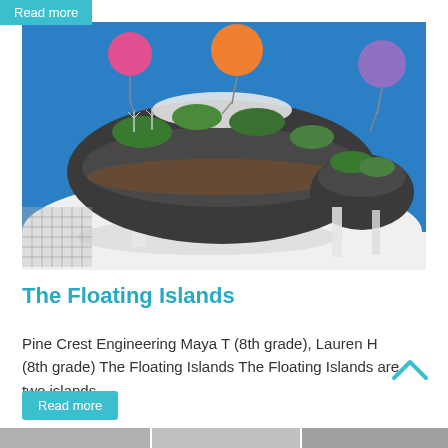Read more
[Figure (photo): A handmade model of two floating rocky islands with miniature waterfalls, green foliage, and colorful balloons (pink, orange, purple) attached to the islands, set against a bright blue background.]
The Floating Islands
Pine Crest Engineering Maya T (8th grade), Lauren H (8th grade) The Floating Islands The Floating Islands are two islands
Read more